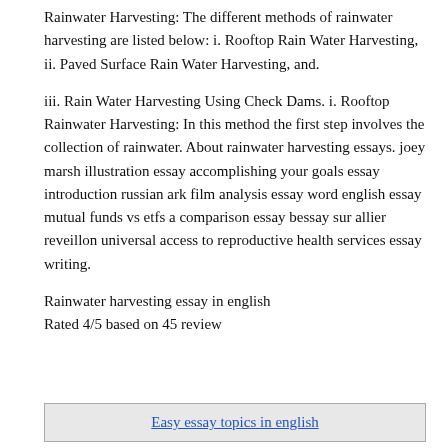Rainwater Harvesting: The different methods of rainwater harvesting are listed below: i. Rooftop Rain Water Harvesting, ii. Paved Surface Rain Water Harvesting, and.
iii. Rain Water Harvesting Using Check Dams. i. Rooftop Rainwater Harvesting: In this method the first step involves the collection of rainwater. About rainwater harvesting essays. joey marsh illustration essay accomplishing your goals essay introduction russian ark film analysis essay word english essay mutual funds vs etfs a comparison essay bessay sur allier reveillon universal access to reproductive health services essay writing.
Rainwater harvesting essay in english
Rated 4/5 based on 45 review
Easy essay topics in english